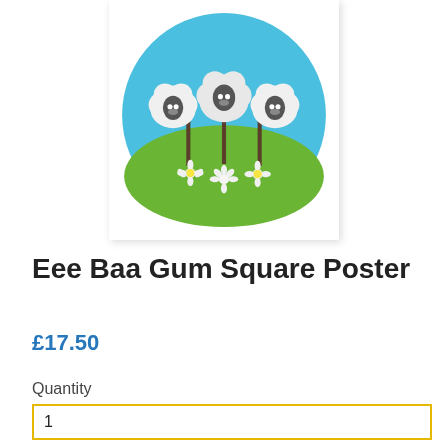[Figure (illustration): Circular illustration of three sheep with grey faces standing on a green hill with white daisy flowers, against a blue sky background. Shown inside a white square card with a soft shadow.]
Eee Baa Gum Square Poster
£17.50
Quantity
1